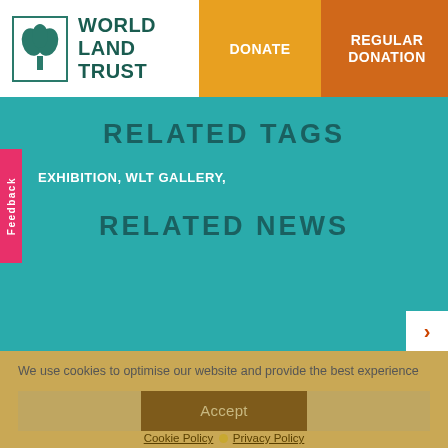[Figure (screenshot): World Land Trust website header with logo, Donate button (orange), Regular Donation button (dark orange), and hamburger menu (teal)]
RELATED TAGS
EXHIBITION, WLT GALLERY,
RELATED NEWS
We use cookies to optimise our website and provide the best experience
Accept
Cookie Policy · Privacy Policy